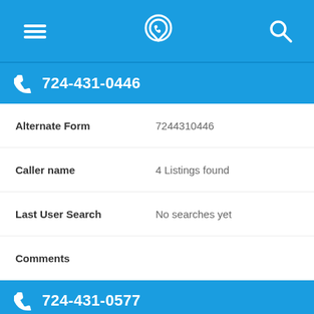Navigation bar with menu, phone location, and search icons
724-431-0446
| Field | Value |
| --- | --- |
| Alternate Form | 7244310446 |
| Caller name | 4 Listings found |
| Last User Search | No searches yet |
| Comments |  |
724-431-0577
| Field | Value |
| --- | --- |
| Alternate Form | 7244310577 |
| Caller name | ... |